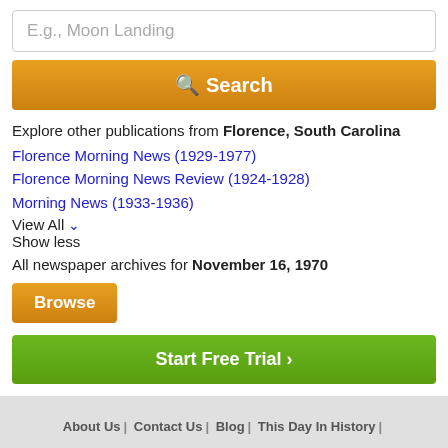E.g., Moon Landing
Search
Explore other publications from Florence, South Carolina
Florence Morning News (1929-1977)
Florence Morning News Review (1924-1928)
Morning News (1933-1936)
View All
Show less
All newspaper archives for November 16, 1970
Browse
Start Free Trial >
About Us | Contact Us | Blog | This Day In History | Free Newspaper Archives | Terms | Privacy | Copyright | Your California Privacy Rights | Sitemap
© Copyright 2022 NewspaperARCHIVE.com. All rights reserved.